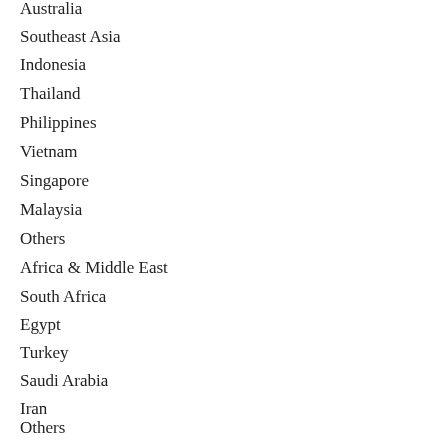Australia
Southeast Asia
Indonesia
Thailand
Philippines
Vietnam
Singapore
Malaysia
Others
Africa & Middle East
South Africa
Egypt
Turkey
Saudi Arabia
Iran
Others
Key Product Type